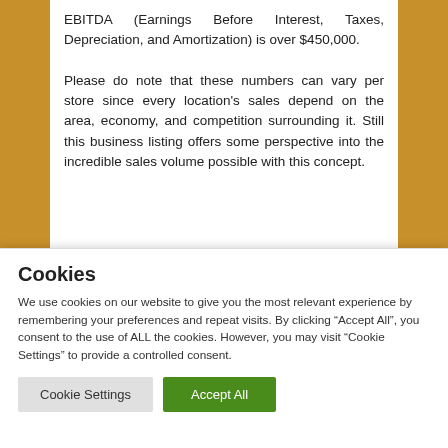EBITDA (Earnings Before Interest, Taxes, Depreciation, and Amortization) is over $450,000.

Please do note that these numbers can vary per store since every location’s sales depend on the area, economy, and competition surrounding it. Still this business listing offers some perspective into the incredible sales volume possible with this concept.
Cookies
We use cookies on our website to give you the most relevant experience by remembering your preferences and repeat visits. By clicking “Accept All”, you consent to the use of ALL the cookies. However, you may visit "Cookie Settings" to provide a controlled consent.